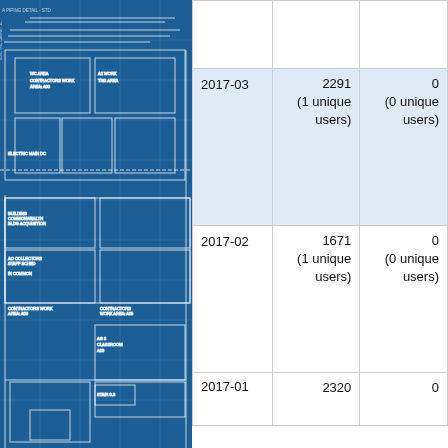[Figure (engineering-diagram): Blueprint-style floor plan / site plan shown in blue tones on the left half of the page]
|  |  |  |
| --- | --- | --- |
|  |  |  |
| 2017-03 | 2291
(1 unique
users) | 0
(0 unique
users) |
| 2017-02 | 1671
(1 unique
users) | 0
(0 unique
users) |
| 2017-01 | 2320 | 0 |